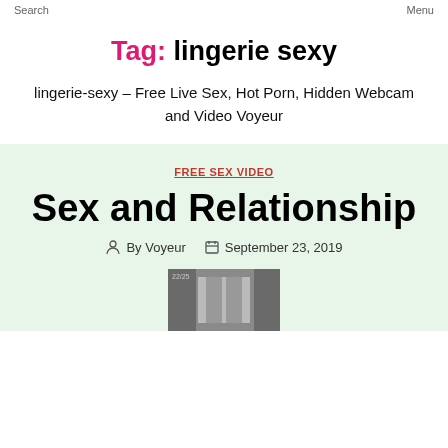Search   Menu
Tag: lingerie sexy
lingerie-sexy – Free Live Sex, Hot Porn, Hidden Webcam and Video Voyeur
FREE SEX VIDEO
Sex and Relationship
By Voyeur   September 23, 2019
[Figure (photo): Thumbnail image of a room with a doorway]